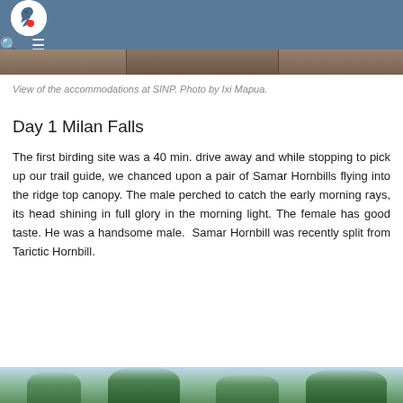[Figure (photo): Header bar with bird logo (white circle with bird silhouette and red dot on blue-gray background), search icon and hamburger menu icon on the right]
[Figure (photo): Partial view of photo strip showing accommodations at SINP]
View of the accommodations at SINP. Photo by Ixi Mapua.
Day 1 Milan Falls
The first birding site was a 40 min. drive away and while stopping to pick up our trail guide, we chanced upon a pair of Samar Hornbills flying into the ridge top canopy. The male perched to catch the early morning rays, its head shining in full glory in the morning light. The female has good taste. He was a handsome male.  Samar Hornbill was recently split from Tarictic Hornbill.
[Figure (photo): Bottom portion of photo showing trees and sky at birding site]